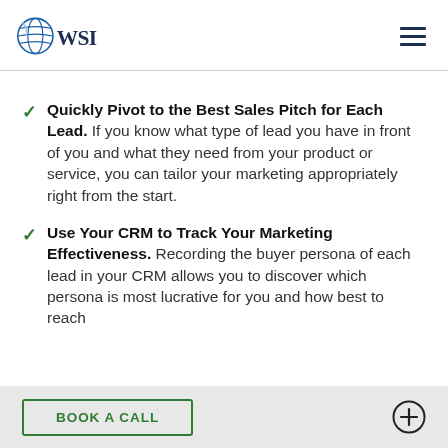[Figure (logo): WSI logo with globe icon and text WSI in dark navy blue]
Quickly Pivot to the Best Sales Pitch for Each Lead. If you know what type of lead you have in front of you and what they need from your product or service, you can tailor your marketing appropriately right from the start.
Use Your CRM to Track Your Marketing Effectiveness. Recording the buyer persona of each lead in your CRM allows you to discover which persona is most lucrative for you and how best to reach
BOOK A CALL